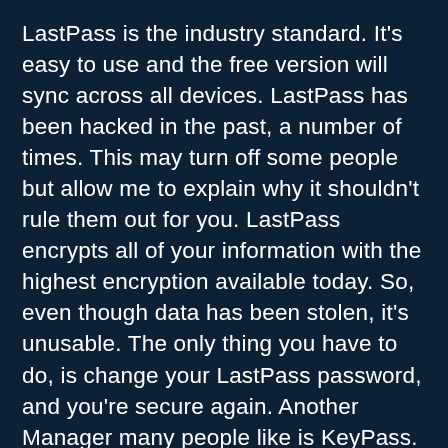LastPass is the industry standard. It's easy to use and the free version will sync across all devices. LastPass has been hacked in the past, a number of times. This may turn off some people but allow me to explain why it shouldn't rule them out for you. LastPass encrypts all of your information with the highest encryption available today. So, even though data has been stolen, it's unusable. The only thing you have to do, is change your LastPass password, and you're secure again. Another Manager many people like is KeyPass. KeyPass saves your stuff to your device and only that device. It's encryption is top notch. Many employers are okay with this manager as company access is not stored with another company like LastPass or Dashlane. The drawback here is that passwords saved on your computer are not available on your phone and so on. All